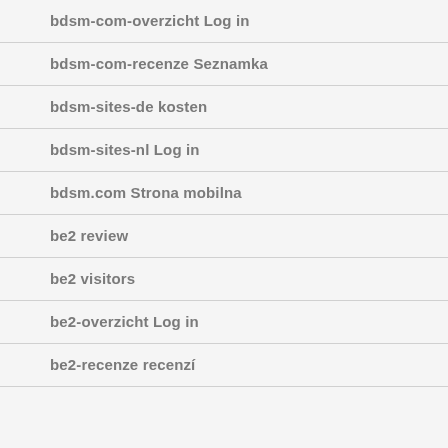bdsm-com-overzicht Log in
bdsm-com-recenze Seznamka
bdsm-sites-de kosten
bdsm-sites-nl Log in
bdsm.com Strona mobilna
be2 review
be2 visitors
be2-overzicht Log in
be2-recenze recenzí